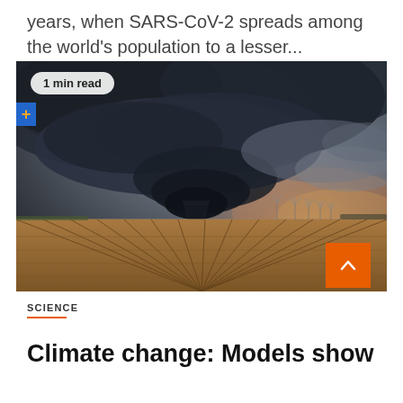years, when SARS-CoV-2 spreads among the world's population to a lesser...
[Figure (photo): Dramatic storm photograph showing a large rotating supercell thunderstorm with dark swirling clouds over a flat agricultural field with wind turbines visible on the horizon. A badge reading '1 min read' appears in the upper left, and an orange scroll-to-top button appears at the bottom right.]
SCIENCE
Climate change: Models show